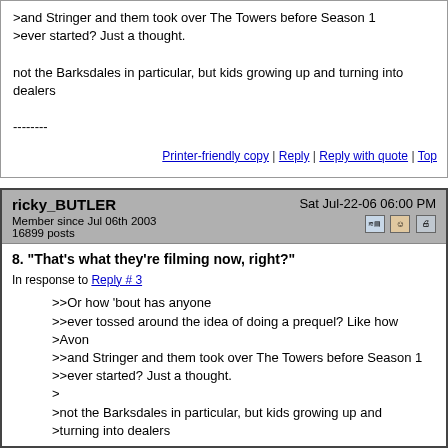>and Stringer and them took over The Towers before Season 1 >ever started? Just a thought.

not the Barksdales in particular, but kids growing up and turning into dealers

--------
Printer-friendly copy | Reply | Reply with quote | Top
ricky_BUTLER
Member since Jul 06th 2003
16899 posts
Sat Jul-22-06 06:00 PM
8. "That's what they're filming now, right?"
In response to Reply # 3

>>Or how 'bout has anyone
>>ever tossed around the idea of doing a prequel? Like how >Avon
>>and Stringer and them took over The Towers before Season 1 >>ever started? Just a thought.
>
>not the Barksdales in particular, but kids growing up and >turning into dealers

Didn't we see that in Season 1 though, with Wallace and Poot, for instance? How Wallace got got and someone filled his shoes . . . the kids Wallace was watching w/out family, turning the drug game into their group home . . . people moved from lookout to hand-to-hands to being i...